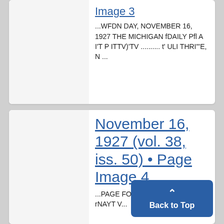Image 3
...WFDN DAY, NOVEMBER 16, 1927 THE MICHIGAN fDAILY Pfl A I'T P ITTV)'TV .......... t' ULI THRI"'E, N ...
November 16, 1927 (vol. 38, iss. 50) • Page Image 4
...PAGE FOUR TPT7 UTrT- ANT rNAYT V...